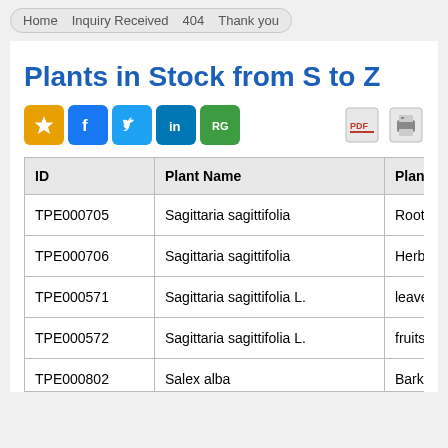Home  Inquiry Received  404  Thank you
Plants in Stock from S to Z
[Figure (other): Social sharing icons: Favorites (star), Facebook, Twitter, LinkedIn, ResearchGate; and action icons: PDF download and print]
| ID | Plant Name | Plant pa... |
| --- | --- | --- |
| TPE000705 | Sagittaria sagittifolia | Root |
| TPE000706 | Sagittaria sagittifolia | Herb |
| TPE000571 | Sagittaria sagittifolia L. | leaves |
| TPE000572 | Sagittaria sagittifolia L. | fruits |
| TPE000802 | Salex alba | Bark |